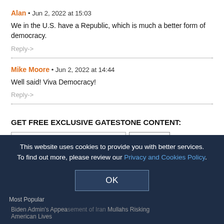Alan • Jun 2, 2022 at 15:03
We in the U.S. have a Republic, which is much a better form of democracy.
Reply->
Mike Moore • Jun 2, 2022 at 14:44
Well said! Viva Democracy!
Reply->
GET FREE EXCLUSIVE GATESTONE CONTENT:
Email Address
Submit
This website uses cookies to provide you with better services. To find out more, please review our Privacy and Cookies Policy.
OK
Most Popular
Biden Admin's Appeasement of Iran Mullahs Risking American Lives